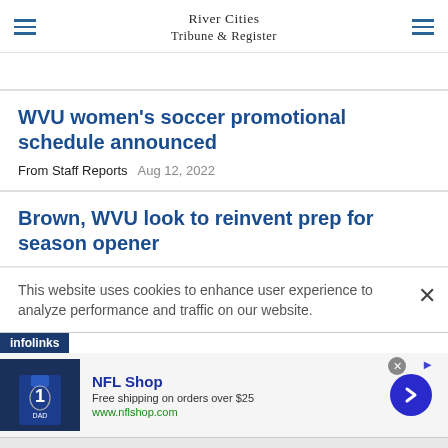River Cities Tribune & Register
[partial article text clipped, blue link text]
WVU women's soccer promotional schedule announced
From Staff Reports   Aug 12, 2022
Brown, WVU look to reinvent prep for season opener
This website uses cookies to enhance user experience to analyze performance and traffic on our website.
[Figure (screenshot): NFL Shop advertisement with Dallas Cowboys jersey image, NFL Shop logo, 'Free shipping on orders over $25', www.nflshop.com URL, and a blue circular arrow button]
infolinks